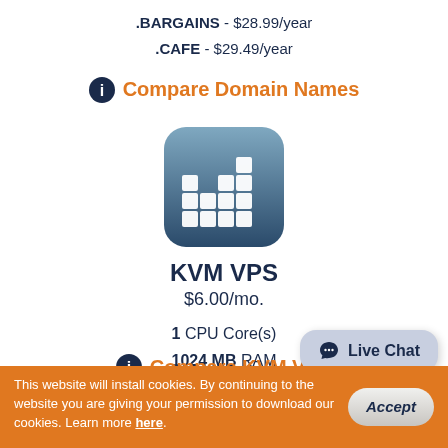.BARGAINS - $28.99/year
.CAFE - $29.49/year
Compare Domain Names
[Figure (illustration): App icon showing a bar chart on a blue-gray rounded square background]
KVM VPS
$6.00/mo.
1 CPU Core(s)
1024 MB RAM
20 GB Disk Space
Compare KVM VPS
This website will install cookies. By continuing to the website you are giving your permission to download our cookies. Learn more here.